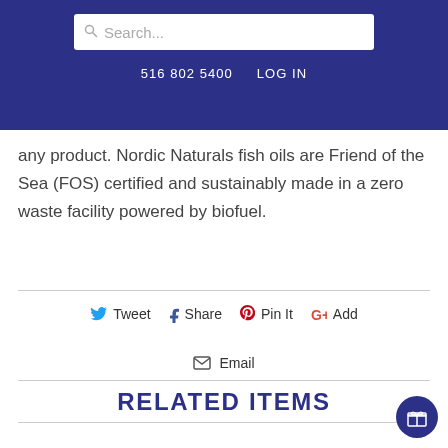516 802 5400   LOG IN
any product. Nordic Naturals fish oils are Friend of the Sea (FOS) certified and sustainably made in a zero waste facility powered by biofuel.
Tweet   Share   Pin It   Add
Email
RELATED ITEMS